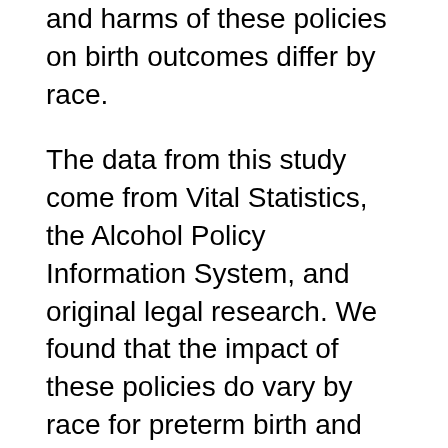and harms of these policies on birth outcomes differ by race.
The data from this study come from Vital Statistics, the Alcohol Policy Information System, and original legal research. We found that the impact of these policies do vary by race for preterm birth and low birth weight, but not for prenatal care utilization.
Most policies had an adverse impact on preterm birth and/or low birth weight birth for White women. Some policies had a beneficial impact for preterm birth for Black women, and one had an adverse impact for low birth weight. Harms appear more present for white women and benefits appear more present for Black women.
More research is needed to understand the reasons for these differential effects.